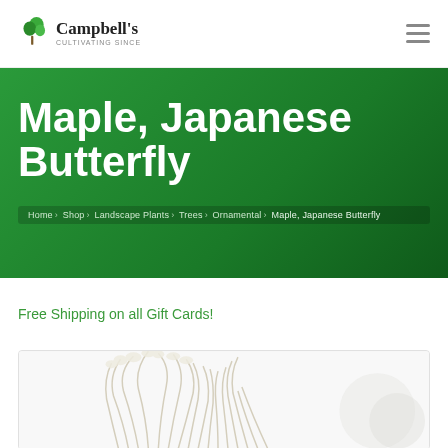Campbell's Cultivating Since
Maple, Japanese Butterfly
Home › Shop › Landscape Plants › Trees › Ornamental › Maple, Japanese Butterfly
Free Shipping on all Gift Cards!
[Figure (photo): Plant/grass photograph in product listing card at bottom of page]